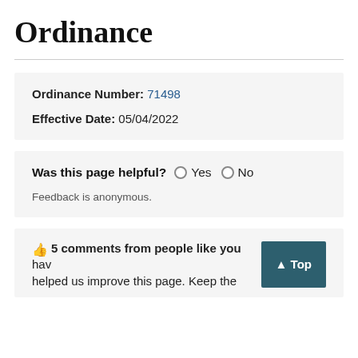Ordinance
Ordinance Number: 71498
Effective Date: 05/04/2022
Was this page helpful?  Yes  No
Feedback is anonymous.
5 comments from people like you have helped us improve this page. Keep the